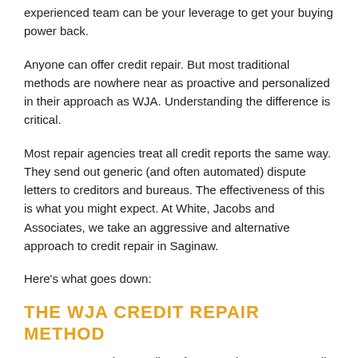experienced team can be your leverage to get your buying power back.
Anyone can offer credit repair. But most traditional methods are nowhere near as proactive and personalized in their approach as WJA. Understanding the difference is critical.
Most repair agencies treat all credit reports the same way. They send out generic (and often automated) dispute letters to creditors and bureaus. The effectiveness of this is what you might expect. At White, Jacobs and Associates, we take an aggressive and alternative approach to credit repair in Saginaw.
Here's what goes down:
THE WJA CREDIT REPAIR METHOD
At WJA, we employ a tedious four-round process to credit restoration. Yes, just as our counterparts, we send out dispute letters, but we do so strategically. The dispute letter is only the